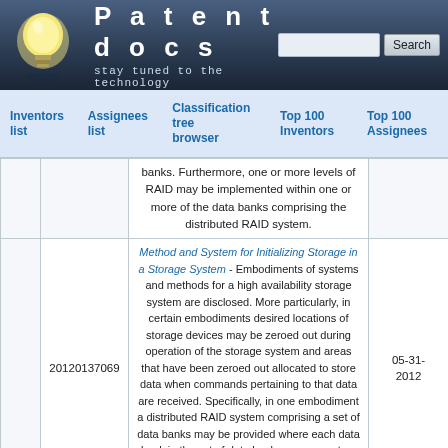Patentdocs — stay tuned to the technology
Inventors list | Assignees list | Classification tree browser | Top 100 Inventors | Top 100 Assignees
|  | Publication Number | Abstract | Date |
| --- | --- | --- | --- |
|  |  | banks. Furthermore, one or more levels of RAID may be implemented within one or more of the data banks comprising the distributed RAID system. |  |
|  | 20120137069 | Method and System for Initializing Storage in a Storage System - Embodiments of systems and methods for a high availability storage system are disclosed. More particularly, in certain embodiments desired locations of storage devices may be zeroed out during operation of the storage system and areas that have been zeroed out allocated to store data when commands pertaining to that data are received. Specifically, in one embodiment a distributed RAID system comprising a set of data banks may be provided where each data bank in the set of data banks may execute a background process which zeroes areas of the storage... | 05-31-2012 |